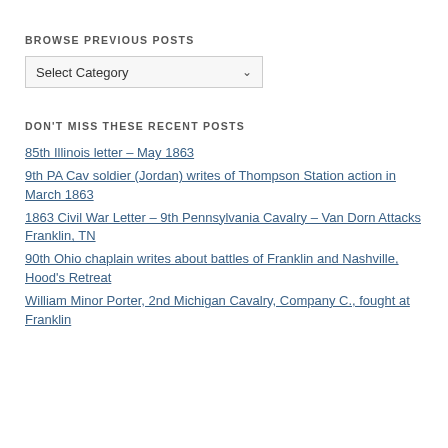BROWSE PREVIOUS POSTS
[Figure (screenshot): A dropdown/select element showing 'Select Category' with a dropdown arrow]
DON'T MISS THESE RECENT POSTS
85th Illinois letter – May 1863
9th PA Cav soldier (Jordan) writes of Thompson Station action in March 1863
1863 Civil War Letter – 9th Pennsylvania Cavalry – Van Dorn Attacks Franklin, TN
90th Ohio chaplain writes about battles of Franklin and Nashville, Hood's Retreat
William Minor Porter, 2nd Michigan Cavalry, Company C., fought at Franklin